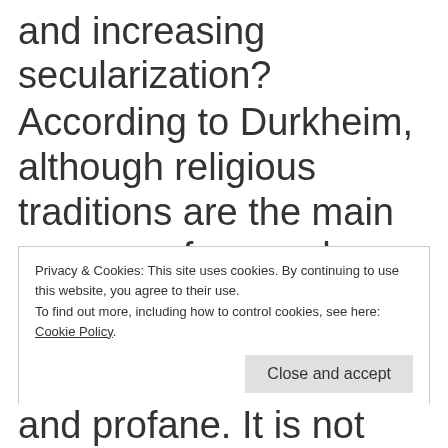and increasing secularization?
According to Durkheim, although religious traditions are the main sources of general knowledge regarding the sacred (and profane), nevertheless they are not the source of sacred ideas.
Privacy & Cookies: This site uses cookies. By continuing to use this website, you agree to their use.
To find out more, including how to control cookies, see here: Cookie Policy
and profane. It is not religions that